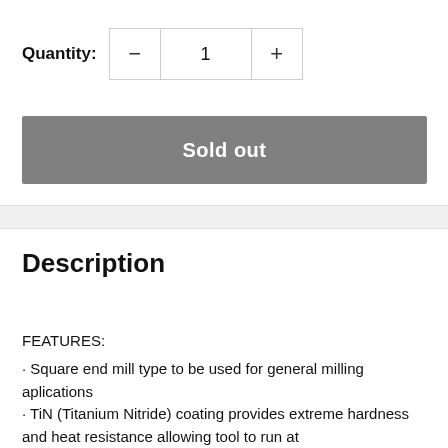Quantity: − 1 +
Sold out
Description
FEATURES:
· Square end mill type to be used for general milling aplications
· TiN (Titanium Nitride) coating provides extreme hardness and heat resistance allowing tool to run at higher speed and feed